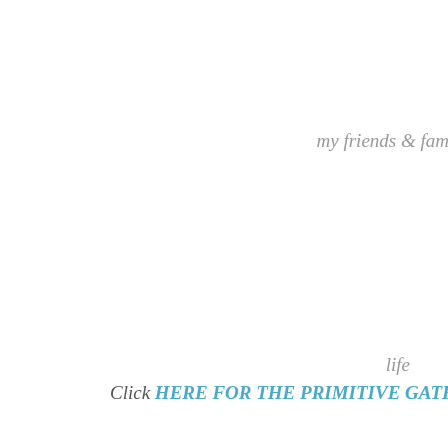my friends & family
life
Click HERE FOR THE PRIMITIVE GATH
Posted by SweetAnnee at 8:09 AM
45 comments:
nitebyrd April 14, 2008 at 8:52 AM
Deena, we know you're here in thought. I think you to be happy, healthy and blogging for yea concentrate on healing, we want you to take